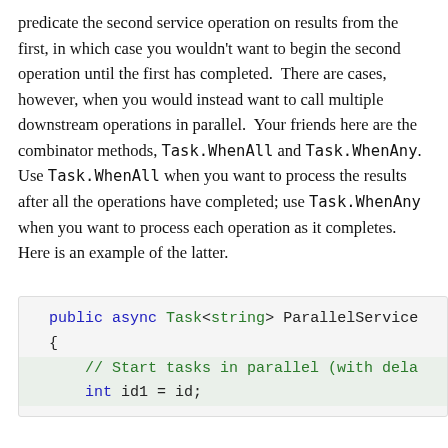predicate the second service operation on results from the first, in which case you wouldn't want to begin the second operation until the first has completed.  There are cases, however, when you would instead want to call multiple downstream operations in parallel.  Your friends here are the combinator methods, Task.WhenAll and Task.WhenAny.  Use Task.WhenAll when you want to process the results after all the operations have completed; use Task.WhenAny when you want to process each operation as it completes.  Here is an example of the latter.
[Figure (screenshot): Code snippet showing the beginning of a public async Task<string> ParallelService method with a comment '// Start tasks in parallel (with dela' and a line 'int id1 = id;']